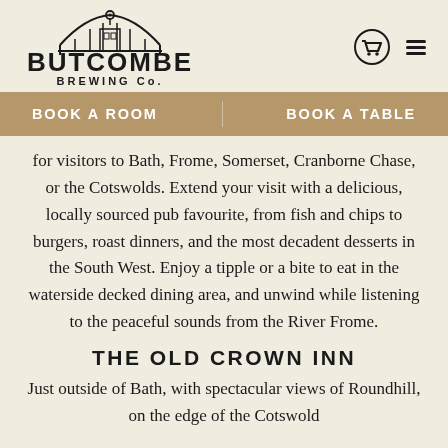[Figure (logo): Butcombe Brewing Co. logo with bridge/building illustration above the text]
BOOK A ROOM   BOOK A TABLE
for visitors to Bath, Frome, Somerset, Cranborne Chase, or the Cotswolds. Extend your visit with a delicious, locally sourced pub favourite, from fish and chips to burgers, roast dinners, and the most decadent desserts in the South West. Enjoy a tipple or a bite to eat in the waterside decked dining area, and unwind while listening to the peaceful sounds from the River Frome.
THE OLD CROWN INN
Just outside of Bath, with spectacular views of Roundhill, on the edge of the Cotswold